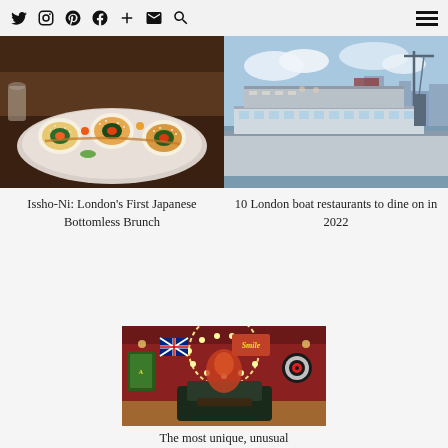Social media icons (Twitter, Instagram, Pinterest, Facebook, Plus, Email, Search) and hamburger menu
[Figure (photo): Plate of sushi rolls with salmon and sesame seeds on a dark ceramic plate]
Issho-Ni: London's First Japanese Bottomless Brunch
[Figure (photo): Large boat/ship restaurant moored on the River Thames in London with city skyline in background]
10 London boat restaurants to dine on in 2022
[Figure (photo): Colourful red interior of an unusual bar/restaurant with British Union Jack flag, eclectic decorations, leather booth seating and circus-like decor]
The most unique, unusual